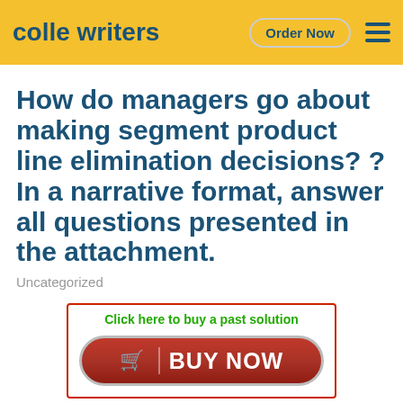colle writers  Order Now
How do managers go about making segment product line elimination decisions? ?In a narrative format, answer all questions presented in the attachment.
Uncategorized
Click here to buy a past solution
[Figure (other): Red BUY NOW button with shopping cart icon]